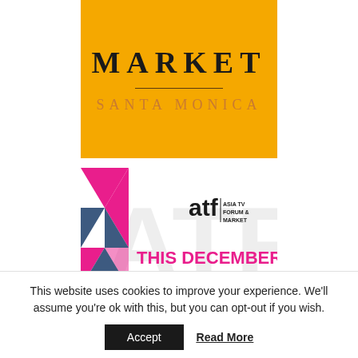[Figure (logo): Market Santa Monica logo on yellow/orange background with serif uppercase text and horizontal divider line]
[Figure (illustration): ATF Asia TV Forum and Market banner with colorful triangular geometric design and text: THIS DECEMBER SAY HI IN PERSON]
This website uses cookies to improve your experience. We’ll assume you’re ok with this, but you can opt-out if you wish.
Accept
Read More